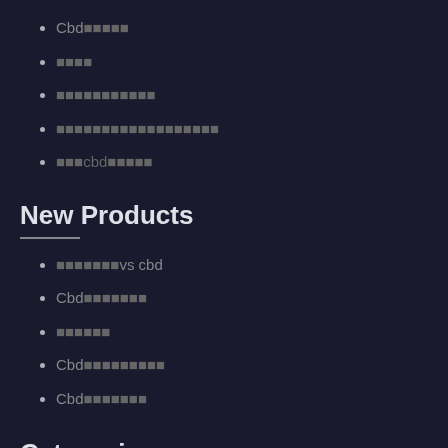Cbd■■■■■
■■■■
■■■■■■■■■■■
■■■■■■■■■■■■■■■■■■
■■■cbd■■■■■
New Products
■■■■■■■vs cbd
Cbd■■■■■■■
■■■■■■
Cbd■■■■■■■■■
Cbd■■■■■■■
Categories